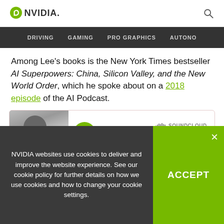NVIDIA
DRIVING   GAMING   PRO GRAPHICS   AUTONO
Among Lee's books is the New York Times bestseller AI Superpowers: China, Silicon Valley, and the New World Order, which he spoke about on a 2018 episode of the AI Podcast.
[Figure (screenshot): SoundCloud embedded player showing The AI Podcast episode with AI Pioneer title, a play button, and a Share button. A photo of an Asian man with glasses is visible on the left.]
NVIDIA websites use cookies to deliver and improve the website experience. See our cookie policy for further details on how we use cookies and how to change your cookie settings.
ACCEPT